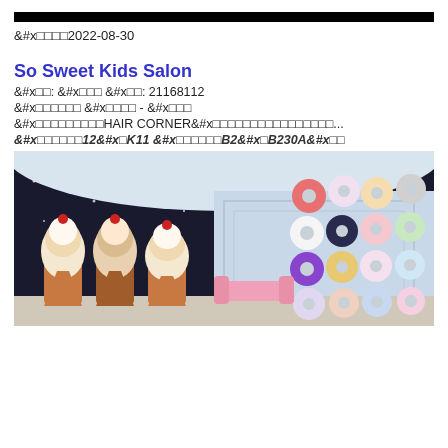발행일자2022-08-30
So Sweet Kids Salon
분류: 미용 전화: 21168112
영업시간영업중 영업시간 - 더보기
삼성 어린이 전문 미용실HAIR CORNER에서 어린이 미용실을 찾는 분들께...
하버시티 광동도 침사추이 12층K11 쇼핑몰 몰B2층B230A호
[Figure (photo): Interior of So Sweet Kids Salon showing ice-cream themed styling chairs and a wall decorated with colorful donut decorations]